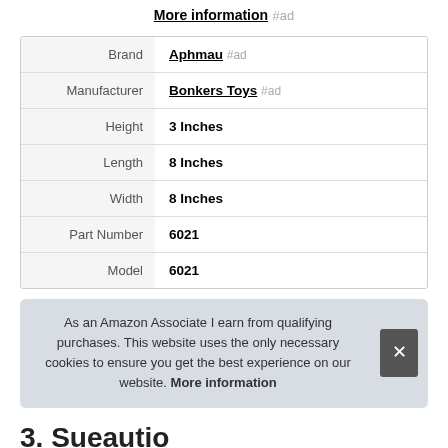More information #ad
| Label | Value |
| --- | --- |
| Brand | Aphmau #ad |
| Manufacturer | Bonkers Toys #ad |
| Height | 3 Inches |
| Length | 8 Inches |
| Width | 8 Inches |
| Part Number | 6021 |
| Model | 6021 |
As an Amazon Associate I earn from qualifying purchases. This website uses the only necessary cookies to ensure you get the best experience on our website. More information
3. Sueautio